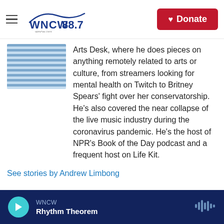WNCW 88.7 | Donate
[Figure (photo): Partial view of a person's photo, showing horizontal blue striped image thumbnail]
Arts Desk, where he does pieces on anything remotely related to arts or culture, from streamers looking for mental health on Twitch to Britney Spears' fight over her conservatorship. He's also covered the near collapse of the live music industry during the coronavirus pandemic. He's the host of NPR's Book of the Day podcast and a frequent host on Life Kit.
See stories by Andrew Limbong
WNCW Rhythm Theorem